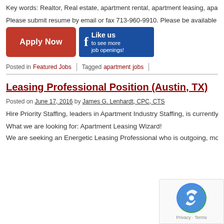Key words: Realtor, Real estate, apartment rental, apartment leasing, apartm...
Please submit resume by email or fax 713-960-9910. Please be available for...
[Figure (infographic): Apply Now button (red) and Facebook Like us to see more job openings button]
Posted in Featured Jobs | Tagged apartment jobs
Leasing Professional Position (Austin, TX)
Posted on June 17, 2016 by James G. Lenhardt, CPC, CTS
Hire Priority Staffing, leaders in Apartment Industry Staffing, is currently seek...
What we are looking for: Apartment Leasing Wizard!
We are seeking an Energetic Leasing Professional who is outgoing, motivate...